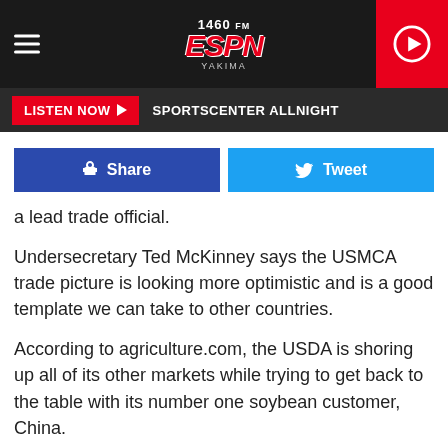1460 ESPN Yakima — LISTEN NOW SPORTSCENTER ALLNIGHT
a lead trade official.
Undersecretary Ted McKinney says the USMCA trade picture is looking more optimistic and is a good template we can take to other countries.
According to agriculture.com, the USDA is shoring up all of its other markets while trying to get back to the table with its number one soybean customer, China.
https://www.agriculture.com/news/business/usda-to-maintain-offensive-stance-with-trade-agreements